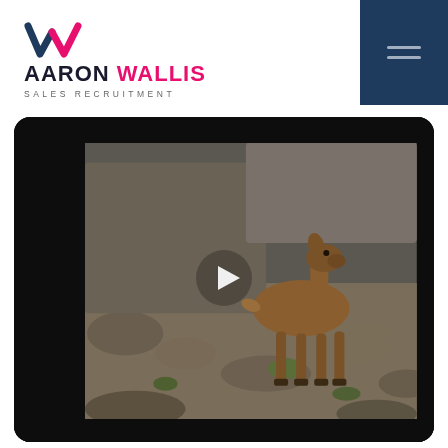AARON WALLIS SALES RECRUITMENT
[Figure (screenshot): Video player showing a deer/young animal standing on rocky terrain in an outdoor natural setting. A white play button triangle is centered over the video thumbnail. The video is embedded in a rounded dark rectangle with dark borders on the sides.]